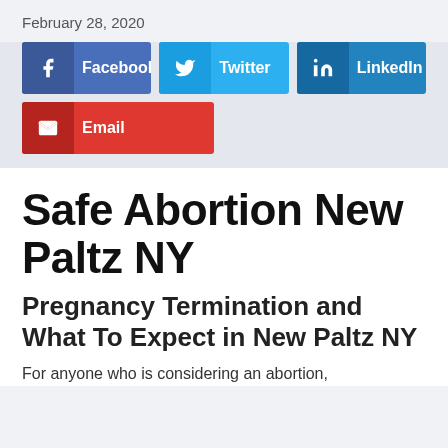February 28, 2020
[Figure (infographic): Social share buttons row: Facebook, Twitter, LinkedIn, and Email]
Safe Abortion New Paltz NY
Pregnancy Termination and What To Expect in New Paltz NY
For anyone who is considering an abortion,